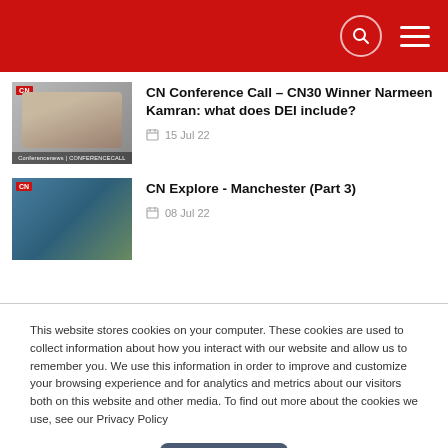CN website header with search and menu icons
[Figure (photo): Thumbnail image of Narmeen Kamran with CN conference call branding overlay]
CN Conference Call – CN30 Winner Narmeen Kamran: what does DEI include?
15 Jul 22
[Figure (photo): Thumbnail image from Manchester explore video showing people on a street]
CN Explore - Manchester (Part 3)
08 Jul 22
This website stores cookies on your computer. These cookies are used to collect information about how you interact with our website and allow us to remember you. We use this information in order to improve and customize your browsing experience and for analytics and metrics about our visitors both on this website and other media. To find out more about the cookies we use, see our Privacy Policy
Accept